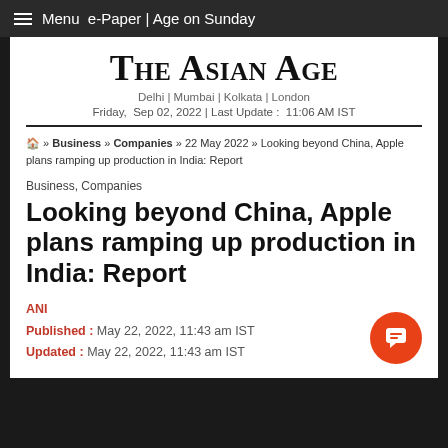Menu  e-Paper | Age on Sunday
The Asian Age
Delhi | Mumbai | Kolkata | London
Friday, Sep 02, 2022 | Last Update : 11:06 AM IST
🏠 » Business » Companies » 22 May 2022 » Looking beyond China, Apple plans ramping up production in India: Report
Business, Companies
Looking beyond China, Apple plans ramping up production in India: Report
ANI
Published : May 22, 2022, 11:43 am IST
Updated : May 22, 2022, 11:43 am IST